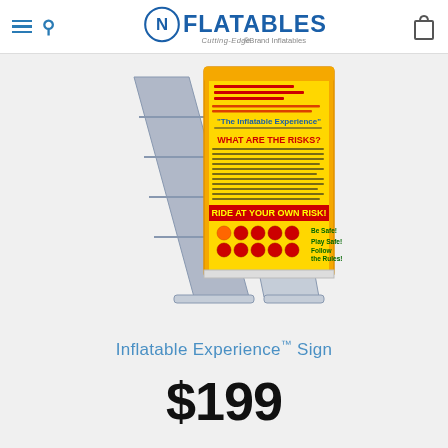NFlatables - Cutting-Edge Brand Inflatables
[Figure (photo): An A-frame sidewalk sign displaying 'The Inflatable Experience' safety sign with yellow background, showing rules including 'WHAT ARE THE RISKS?' and 'RIDE AT YOUR OWN RISK!' text with safety icons. The A-frame stand is white/grey plastic.]
Inflatable Experience™ Sign
$199